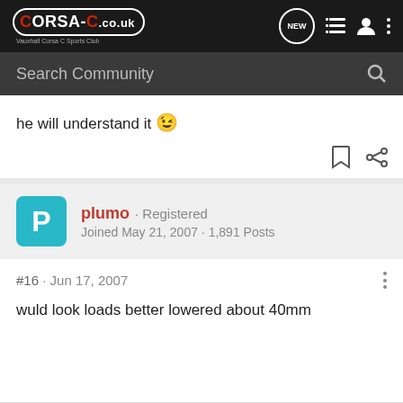CORSA-C.co.uk - Vauxhall Corsa C Sports Club
Search Community
he will understand it 😉
plumo · Registered
Joined May 21, 2007 · 1,891 Posts
#16 · Jun 17, 2007
wuld look loads better lowered about 40mm